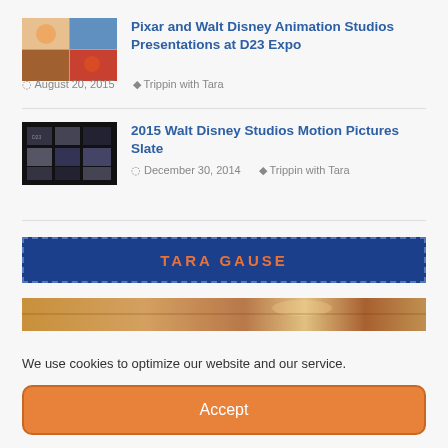[Figure (photo): Thumbnail image for Pixar and Walt Disney Animation article, colorful scene]
Pixar and Walt Disney Animation Studios Presentations at D23 Expo
August 20, 2015   Trippin with Tara
[Figure (photo): Thumbnail image for 2015 Walt Disney Studios Motion Pictures Slate article, dark collage]
2015 Walt Disney Studios Motion Pictures Slate
December 30, 2014   Trippin with Tara
TARA GAUSE
[Figure (photo): Horizontal photo strip showing nature/outdoor scene with warm tones]
We use cookies to optimize our website and our service.
Accept